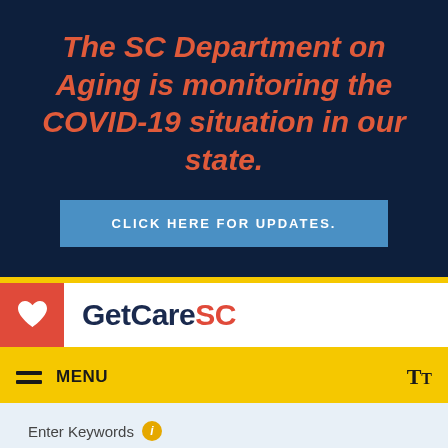The SC Department on Aging is monitoring the COVID-19 situation in our state.
CLICK HERE FOR UPDATES.
[Figure (logo): GetCareSC logo with red heart icon and text 'GetCareSC' where 'SC' is in red]
MENU
Enter Keywords
Enter zip code